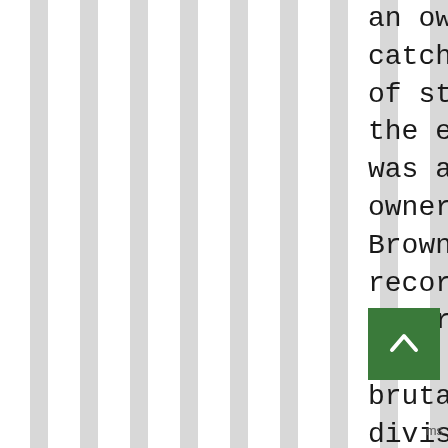an owner. Up until catching a bad case of stadiumitis in the early 90s, he was a pretty good owner, and the Browns had a decent record of success under his reign, in what was often a brutally tough division.
[Figure (other): Green scroll-to-top button with white upward chevron arrow]
My favorite coaching jobs are either Parcells with the Jets, or